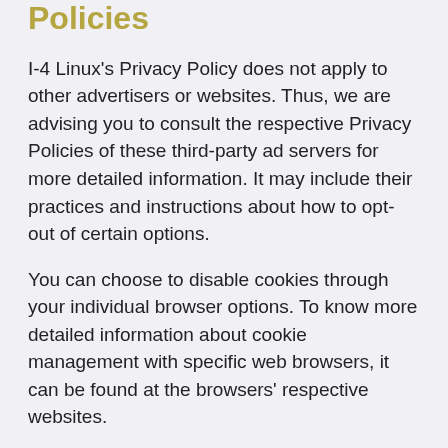Policies
I-4 Linux's Privacy Policy does not apply to other advertisers or websites. Thus, we are advising you to consult the respective Privacy Policies of these third-party ad servers for more detailed information. It may include their practices and instructions about how to opt-out of certain options.
You can choose to disable cookies through your individual browser options. To know more detailed information about cookie management with specific web browsers, it can be found at the browsers' respective websites.
Children's Information
Another part of our priority is adding protection